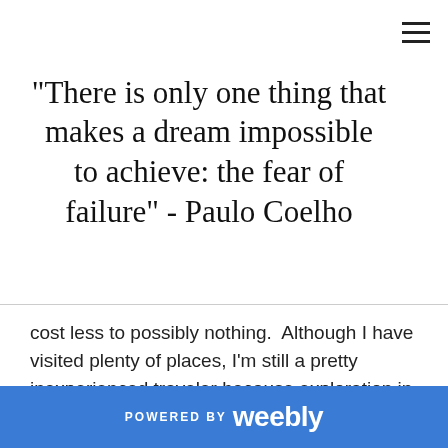"There is only one thing that makes a dream impossible to achieve: the fear of failure" - Paulo Coelho
cost less to possibly nothing.  Although I have visited plenty of places, I'm still a pretty inexperienced traveler because exploration in those places traveled was always accompanied with a family member or close friends; so I've never had to completely rely on my own until this past weekend. Here's how I got to, through, and back from the city without getting lost or losing my mind.
1.  Plan Ahead:
Planning ensures that you don't overspend. A lack of
POWERED BY weebly